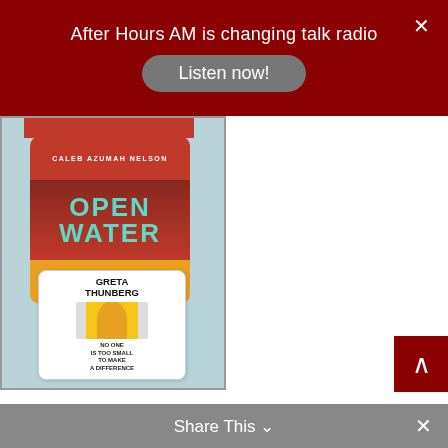After Hours AM is changing talk radio
Listen now!
[Figure (illustration): Screenshot of a website showing book covers including 'Open Water' by Caleb Azumah Nelson and 'Greta Thunberg: No One Is Too Small to Make a Difference']
America’s Most Haunted
blog
book
Share This ∨